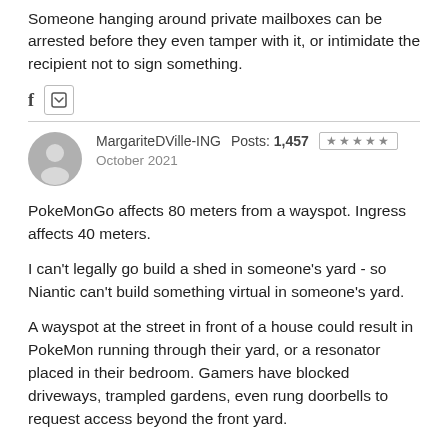Someone hanging around private mailboxes can be arrested before they even tamper with it, or intimidate the recipient not to sign something.
[Figure (other): Social share icons: Facebook (f) and Twitter/X square icon]
MargariteDVille-ING  Posts: 1,457  ★★★★★  October 2021
PokeMonGo affects 80 meters from a wayspot. Ingress affects 40 meters.
I can't legally go build a shed in someone's yard - so Niantic can't build something virtual in someone's yard.
A wayspot at the street in front of a house could result in PokeMon running through their yard, or a resonator placed in their bedroom. Gamers have blocked driveways, trampled gardens, even rung doorbells to request access beyond the front yard.
You and I aren't party to the lawsuit, but we do want to respect people's homes, and we don't want Niantic in legal trouble. I'm